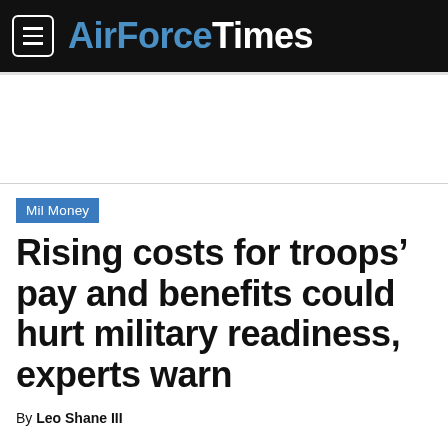AirForce Times
Mil Money
Rising costs for troops’ pay and benefits could hurt military readiness, experts warn
By Leo Shane III